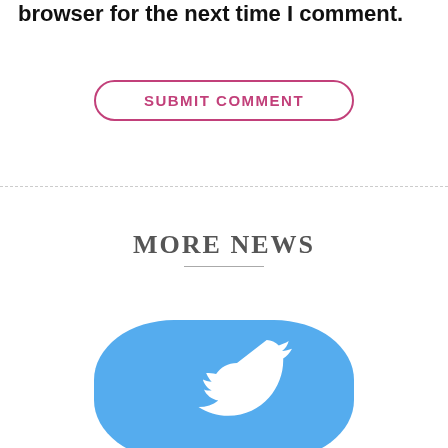browser for the next time I comment.
SUBMIT COMMENT
MORE NEWS
[Figure (logo): Twitter bird logo in blue circle/square shape, white bird on blue background]